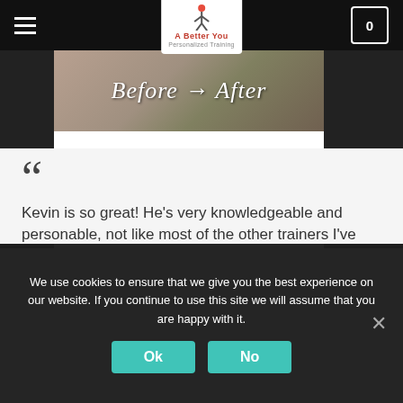Navigation bar with hamburger menu, A Better You Personalized Training logo, and cart icon showing 0
[Figure (photo): Before and After banner image showing feet/shoes with cursive text 'Before → After' overlaid on a photo background]
❝
Kevin is so great! He's very knowledgeable and personable, not like most of the other trainers I've met. He took the time to understand my goals and put together a solid plan on how we're going to achieve them. I'm
We use cookies to ensure that we give you the best experience on our website. If you continue to use this site we will assume that you are happy with it.